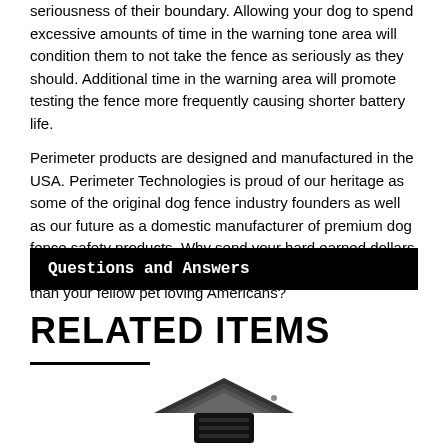seriousness of their boundary. Allowing your dog to spend excessive amounts of time in the warning tone area will condition them to not take the fence as seriously as they should. Additional time in the warning area will promote testing the fence more frequently causing shorter battery life.
Perimeter products are designed and manufactured in the USA. Perimeter Technologies is proud of our heritage as some of the original dog fence industry founders as well as our future as a domestic manufacturer of premium dog fence safety products. Why send your hard earned dollars overseas? Why trust the safety of your dog to anyone less than your fellow pet loving Americans?
Questions and Answers
RELATED ITEMS
[Figure (photo): Product image partially visible at bottom of page — appears to be a dog fence receiver/transmitter device in dark color]